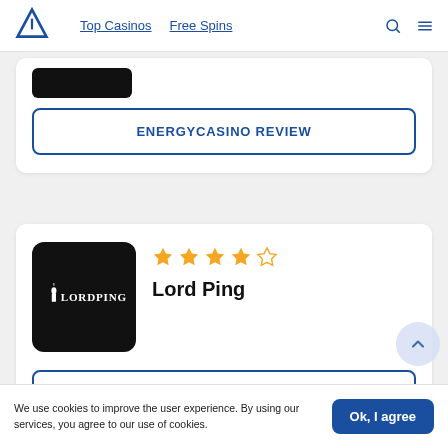Top Casinos | Free Spins
[Figure (logo): Partially visible EnergyCasino logo (black rectangle) at top of card]
ENERGYCASINO REVIEW
[Figure (logo): Lord Ping logo: black rounded square with white candle/figure icon and text LORDPING]
★★★★☆ Lord Ping
LORD PING REVIEW
We use cookies to improve the user experience. By using our services, you agree to our use of cookies.
Ok, I agree